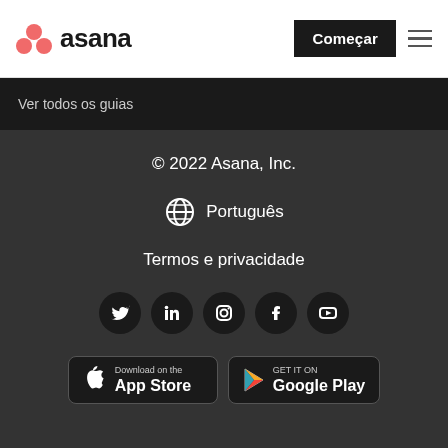Asana — Começar
Ver todos os guias
© 2022 Asana, Inc.
Português
Termos e privacidade
[Figure (infographic): Social media icons: Twitter, LinkedIn, Instagram, Facebook, YouTube — circular black buttons]
[Figure (infographic): App store badges: Download on the App Store (Apple) and GET IT ON Google Play]